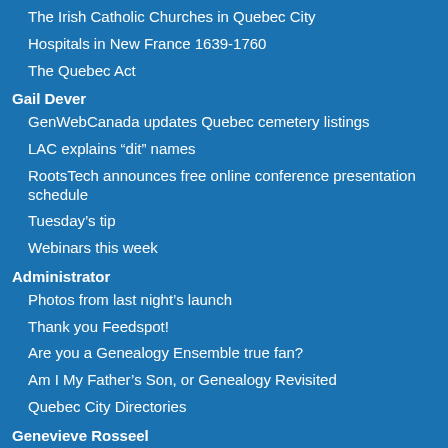The Irish Catholic Churches in Quebec City
Hospitals in New France 1639-1760
The Quebec Act
Gail Dever
GenWebCanada updates Quebec cemetery listings
LAC explains “dit” names
RootsTech announces free online conference presentation schedule
Tuesday’s tip
Webinars this week
Administrator
Photos from last night’s launch
Thank you Feedspot!
Are you a Genealogy Ensemble true fan?
Am I My Father’s Son, or Genealogy Revisited
Quebec City Directories
Genevieve Rosseel
Amarilda Desbiens, Scottish adoptee in Baie-St-Paul? a road-trip up dead ends